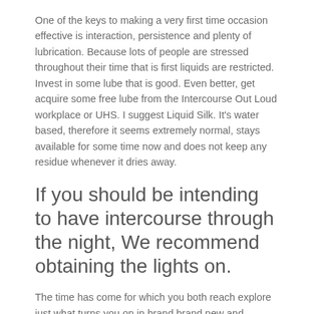One of the keys to making a very first time occasion effective is interaction, persistence and plenty of lubrication. Because lots of people are stressed throughout their time that is first liquids are restricted. Invest in some lube that is good. Even better, get acquire some free lube from the Intercourse Out Loud workplace or UHS. I suggest Liquid Silk. It's water based, therefore it seems extremely normal, stays available for some time now and does not keep any residue whenever it dries away.
If you should be intending to have intercourse through the night, We recommend obtaining the lights on.
The time has come for which you both reach explore just what turns you on in brand brand new and wonderful methods, also just what does not quite feel right. It is impossible to totally